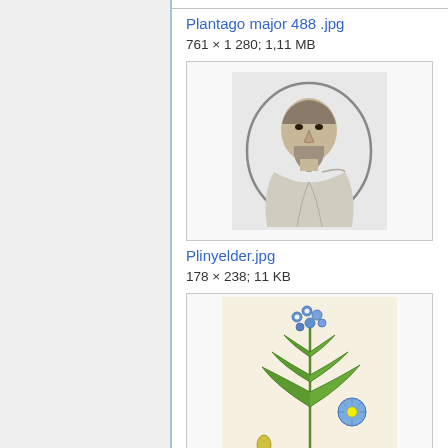Plantago major 488 .jpg
761 × 1 280; 1,11 MB
[Figure (illustration): Black and white engraved portrait of Pliny the Elder in oval frame]
Plinyelder.jpg
178 × 238; 11 KB
[Figure (illustration): Botanical illustration of Polemonium caeruleum with blue flowers and green leaves]
Polemonium caeruleu...